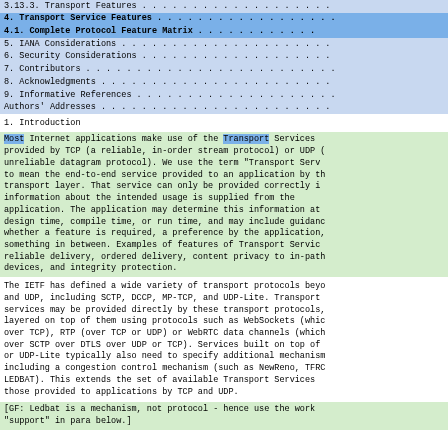3.13.3. Transport Features . . . . . . . . . . . . . . . . . . .
4.  Transport Service Features . . . . . . . . . . . . . . . . . .
4.1.  Complete Protocol Feature Matrix . . . . . . . . . . . .
5.  IANA Considerations . . . . . . . . . . . . . . . . . . . . .
6.  Security Considerations . . . . . . . . . . . . . . . . . . .
7.  Contributors . . . . . . . . . . . . . . . . . . . . . . . . .
8.  Acknowledgments . . . . . . . . . . . . . . . . . . . . . . .
9.  Informative References . . . . . . . . . . . . . . . . . . . .
Authors' Addresses . . . . . . . . . . . . . . . . . . . . . . .
1.  Introduction
Most Internet applications make use of the Transport Services provided by TCP (a reliable, in-order stream protocol) or UDP (unreliable datagram protocol).  We use the term "Transport Serv to mean the end-to-end service provided to an application by th transport layer.  That service can only be provided correctly i information about the intended usage is supplied from the application.  The application may determine this information at design time, compile time, or run time, and may include guidanc whether a feature is required, a preference by the application, something in between.  Examples of features of Transport Servic reliable delivery, ordered delivery, content privacy to in-pat devices, and integrity protection.
The IETF has defined a wide variety of transport protocols beyo and UDP, including SCTP, DCCP, MP-TCP, and UDP-Lite.  Transport services may be provided directly by these transport protocols, layered on top of them using protocols such as WebSockets (whic over TCP), RTP (over TCP or UDP) or WebRTC data channels (which over SCTP over DTLS over UDP or TCP).  Services built on top of or UDP-Lite typically also need to specify additional mechanis including a congestion control mechanism (such as NewReno, TFRC LEDBAT).  This extends the set of available Transport Services those provided to applications by TCP and UDP.
[GF: Ledbat is a mechanism, not protocol - hence use the work "support" in para below.]